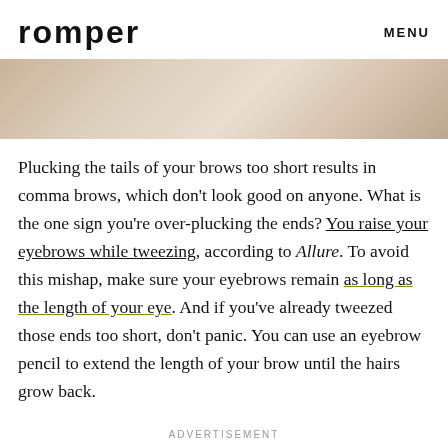romper   MENU
[Figure (photo): Cropped photo of a person with blonde hair and bare shoulders, showing neck and chin area only]
Plucking the tails of your brows too short results in comma brows, which don't look good on anyone. What is the one sign you're over-plucking the ends? You raise your eyebrows while tweezing, according to Allure. To avoid this mishap, make sure your eyebrows remain as long as the length of your eye. And if you've already tweezed those ends too short, don't panic. You can use an eyebrow pencil to extend the length of your brow until the hairs grow back.
ADVERTISEMENT